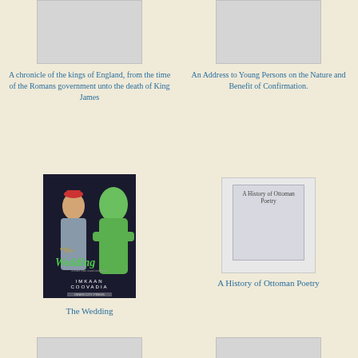[Figure (illustration): Partial book cover placeholder top-left, gray rectangle]
A chronicle of the kings of England, from the time of the Romans government unto the death of King James
[Figure (illustration): Partial book cover placeholder top-right, gray rectangle]
An Address to Young Persons on the Nature and Benefit of Confirmation.
[Figure (illustration): Book cover of The Wedding by Imkaan Coovadia, showing illustrated figures]
The Wedding
[Figure (illustration): Book cover placeholder for A History of Ottoman Poetry, gray with inner rectangle and text]
A History of Ottoman Poetry
[Figure (illustration): Partial book cover placeholder bottom-left, gray rectangle]
[Figure (illustration): Partial book cover placeholder bottom-right, gray rectangle]